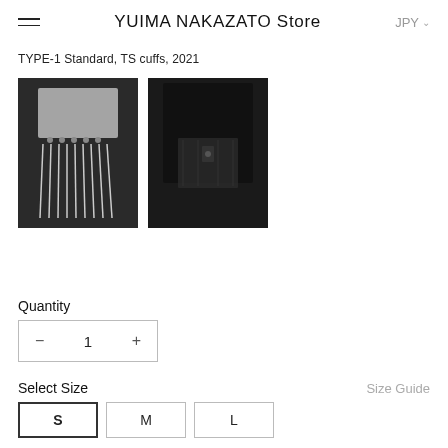YUIMA NAKAZATO Store   JPY
TYPE-1 Standard, TS cuffs, 2021
[Figure (photo): Two product thumbnail photos: left shows white sheer cuff/skirt piece on dark background, right shows black version of same piece]
Quantity
- 1 +
Select Size
Size Guide
S  M  L
Select Dot Color